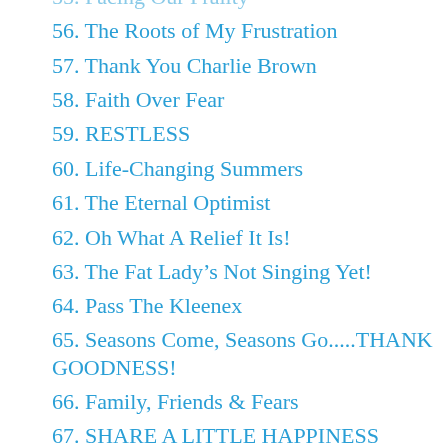55. Facing Our Frailty
56. The Roots of My Frustration
57. Thank You Charlie Brown
58. Faith Over Fear
59. RESTLESS
60. Life-Changing Summers
61. The Eternal Optimist
62. Oh What A Relief It Is!
63. The Fat Lady’s Not Singing Yet!
64. Pass The Kleenex
65. Seasons Come, Seasons Go.....THANK GOODNESS!
66. Family, Friends & Fears
67. SHARE A LITTLE HAPPINESS
68. Football and Faith
69. Once In A Blue Moon
70. THE LIGHT STILL SHINES